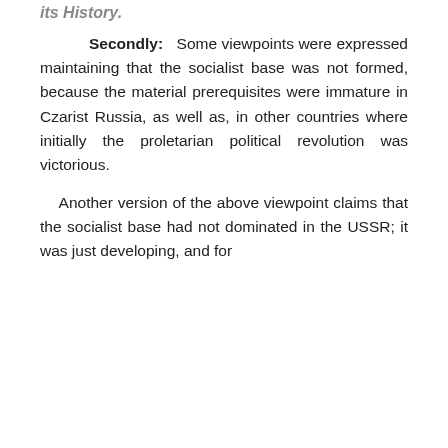its History.
Secondly: Some viewpoints were expressed maintaining that the socialist base was not formed, because the material prerequisites were immature in Czarist Russia, as well as, in other countries where initially the proletarian political revolution was victorious.
Another version of the above viewpoint claims that the socialist base had not dominated in the USSR; it was just developing, and for